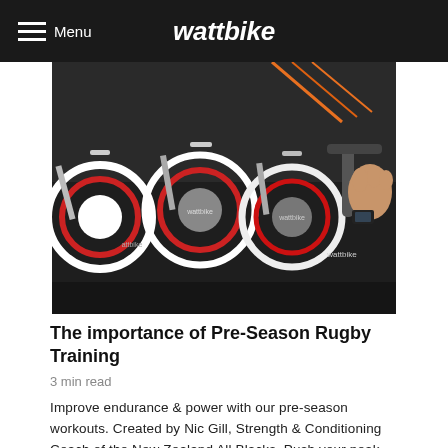Menu  wattbike
[Figure (photo): Row of Wattbike stationary exercise bikes in a gym setting, black and red/white flywheel design, person's hand visible on handlebar with watch]
The importance of Pre-Season Rugby Training
3 min read
Improve endurance & power with our pre-season workouts. Created by Nic Gill, Strength & Conditioning Coach of the New Zealand All Blacks. Push your peak.
[Figure (photo): Person wearing a white cycling helmet, outdoor setting with dramatic cloudy sky at dusk/sunset]